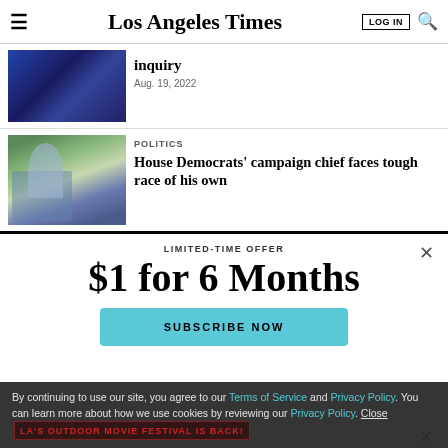Los Angeles Times
[Figure (photo): Photo of two people in dark clothing at what appears to be an outdoor event]
inquiry
Aug. 19, 2022
[Figure (photo): Photo of people including a man in a blue shirt laughing outdoors]
POLITICS
House Democrats' campaign chief faces tough race of his own
LIMITED-TIME OFFER
$1 for 6 Months
SUBSCRIBE NOW
By continuing to use our site, you agree to our Terms of Service and Privacy Policy. You can learn more about how we use cookies by reviewing our Privacy Policy. Close
LA'S OUTDOOR MOVIE FESTIVAL IS BACK!